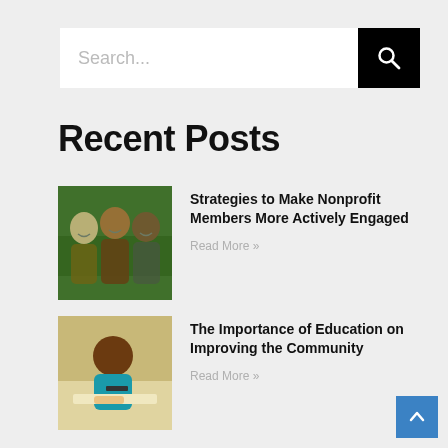[Figure (screenshot): Search bar with text input showing placeholder 'Search...' and a black search button with magnifying glass icon]
Recent Posts
[Figure (photo): Three women smiling outdoors, nonprofit/community theme]
Strategies to Make Nonprofit Members More Actively Engaged
Read More »
[Figure (photo): Young man studying, writing at a desk, education theme]
The Importance of Education on Improving the Community
Read More »
[Figure (photo): Person in handcuffs, felony/legal theme]
Differentiating Felonies from Infractions and Misdemeanors
Read More »